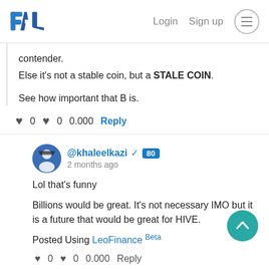PAL | Login  Sign up
contender.
Else it's not a stable coin, but a STALE COIN.

See how important that B is.
♥ 0   ♥ 0   0.000   Reply
@khaleelkazi ✓ 80
2 months ago
Lol that's funny

Billions would be great. It's not necessary IMO but it is a future that would be great for HIVE.

Posted Using LeoFinance Beta
♥ 0   ♥ 0   0.000   Reply